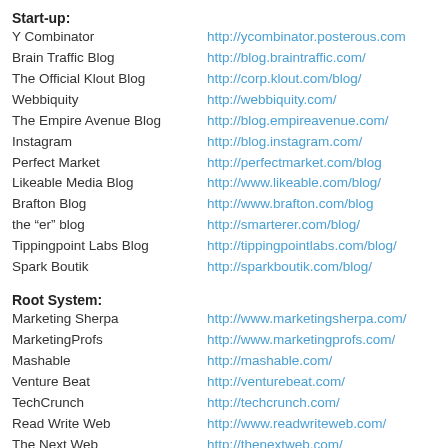Start-up:
Y Combinator	http://ycombinator.posterous.com
Brain Traffic Blog	http://blog.braintraffic.com/
The Official Klout Blog	http://corp.klout.com/blog/
Webbiquity	http://webbiquity.com/
The Empire Avenue Blog	http://blog.empireavenue.com/
Instagram	http://blog.instagram.com/
Perfect Market	http://perfectmarket.com/blog
Likeable Media Blog	http://www.likeable.com/blog/
Brafton Blog	http://www.brafton.com/blog
the “er” blog	http://smarterer.com/blog/
Tippingpoint Labs Blog	http://tippingpointlabs.com/blog/
Spark Boutik	http://sparkboutik.com/blog/
Root System:
Marketing Sherpa	http://www.marketingsherpa.com/
MarketingProfs	http://www.marketingprofs.com/
Mashable	http://mashable.com/
Venture Beat	http://venturebeat.com/
TechCrunch	http://techcrunch.com/
Read Write Web	http://www.readwriteweb.com/
The Next Web	http://thenextweb.com/